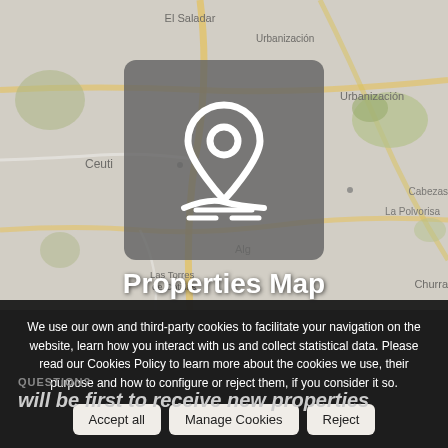[Figure (map): A grey-toned road map showing Spanish towns including El Saladar, Urbanización, Ceuti, Algantara area, Las Torres de Cotillas, La Paloma, Cabezos, Churra. A rounded grey square icon containing a white map pin / location marker icon is centered on the map.]
Properties Map
We use our own and third-party cookies to facilitate your navigation on the website, learn how you interact with us and collect statistical data. Please read our Cookies Policy to learn more about the cookies we use, their purpose and how to configure or reject them, if you consider it so.
Accept all  Manage Cookies  Reject
QUESTION?
will be first to receive new properties